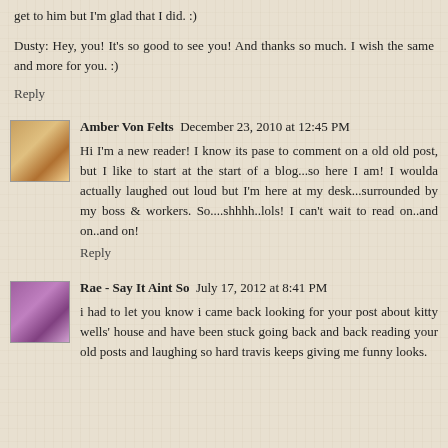get to him but I'm glad that I did. :)
Dusty: Hey, you! It's so good to see you! And thanks so much. I wish the same and more for you. :)
Reply
Amber Von Felts  December 23, 2010 at 12:45 PM
Hi I'm a new reader! I know its pase to comment on a old old post, but I like to start at the start of a blog...so here I am! I woulda actually laughed out loud but I'm here at my desk...surrounded by my boss & workers. So....shhhh..lols! I can't wait to read on..and on..and on!
Reply
Rae - Say It Aint So  July 17, 2012 at 8:41 PM
i had to let you know i came back looking for your post about kitty wells' house and have been stuck going back and back reading your old posts and laughing so hard travis keeps giving me funny looks.